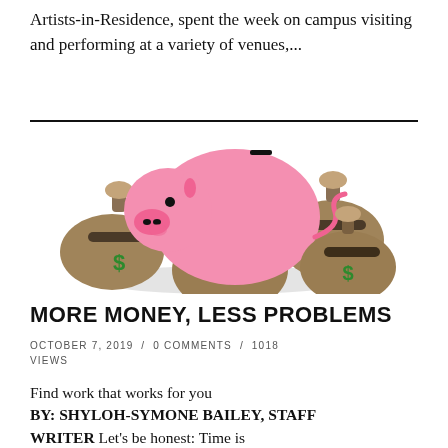Artists-in-Residence, spent the week on campus visiting and performing at a variety of venues,...
[Figure (illustration): Illustration of a pink piggy bank sitting on top of three brown money bags with green dollar signs on them. The piggy bank has a slot on top. Shadow beneath the piggy bank on a light gray ellipse.]
MORE MONEY, LESS PROBLEMS
OCTOBER 7, 2019  /  0 COMMENTS  /  1018 VIEWS
Find work that works for you BY: SHYLOH-SYMONE BAILEY, STAFF WRITER Let's be honest: Time is